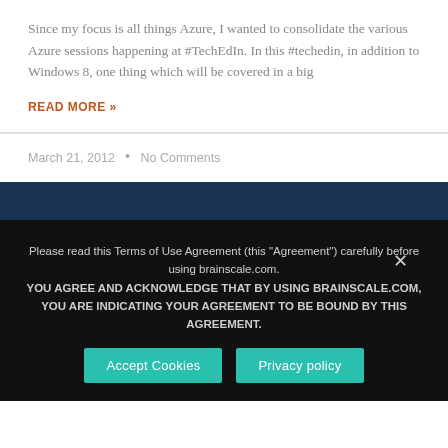Since my focus is all things Azure, I wanted to consolidate the various Azure sessions happening at #TechEdIn. In this #techedin, in addition to Windows 8, one thing which will be covered in a big
READ MORE »
March 21, 2012  •  No Comments
Please read this Terms of Use Agreement (this "Agreement") carefully before using brainscale.com. YOU AGREE AND ACKNOWLEDGE THAT BY USING BRAINSCALE.COM, YOU ARE INDICATING YOUR AGREEMENT TO BE BOUND BY THIS AGREEMENT.
Accept Cookies
Privacy policy